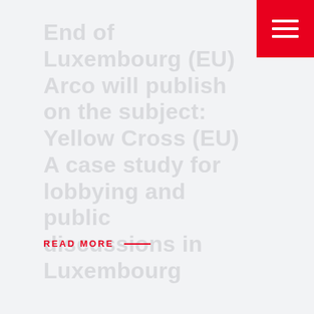End of Luxembourg (EU) Arco will publish on the subject: Yellow Cross (EU) A case study for lobbying and public discussions in Luxembourg
READ MORE —